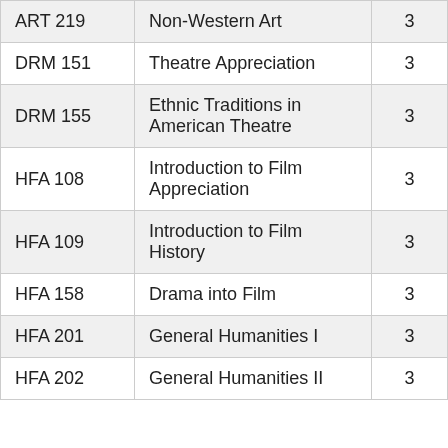| ART 219 | Non-Western Art | 3 |
| DRM 151 | Theatre Appreciation | 3 |
| DRM 155 | Ethnic Traditions in American Theatre | 3 |
| HFA 108 | Introduction to Film Appreciation | 3 |
| HFA 109 | Introduction to Film History | 3 |
| HFA 158 | Drama into Film | 3 |
| HFA 201 | General Humanities I | 3 |
| HFA 202 | General Humanities II | 3 |